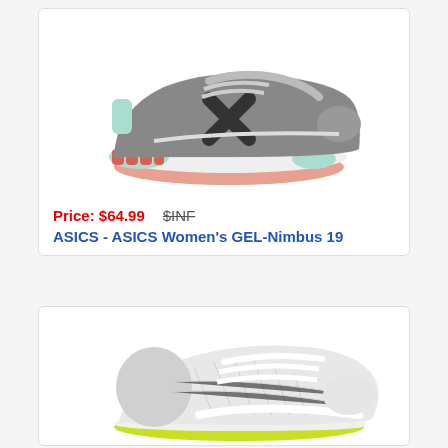[Figure (photo): ASICS Women's GEL-Nimbus 19 running shoe in grey/carbon/mint with salmon sole, shown in profile view against white background]
Price: $64.99   $INF
ASICS - ASICS Women's GEL-Nimbus 19
[Figure (photo): ASICS running shoe in white/light grey with yellow-green outsole, shown in three-quarter top view against white background]